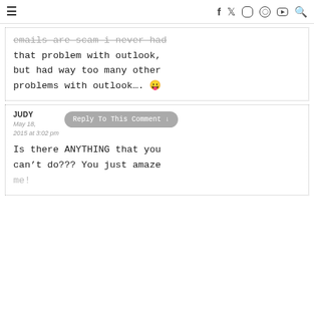≡  f  𝕏  ○  ⊕  ▶  🔍
emails are scam I never had that problem with outlook, but had way too many other problems with outlook…. 😛
JUDY
May 18, 2015 at 3:02 pm
Reply To This Comment ↓
Is there ANYTHING that you can't do??? You just amaze me!